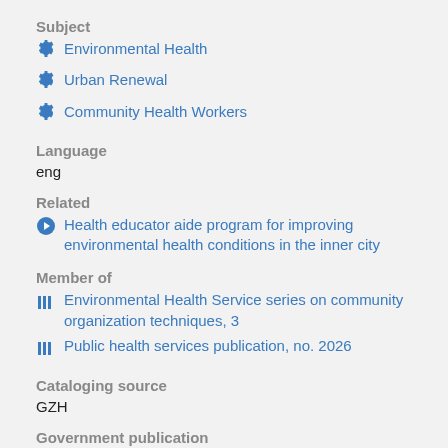Subject
Environmental Health
Urban Renewal
Community Health Workers
Language
eng
Related
Health educator aide program for improving environmental health conditions in the inner city
Member of
Environmental Health Service series on community organization techniques, 3
Public health services publication, no. 2026
Cataloging source
GZH
Government publication
federal national government publication